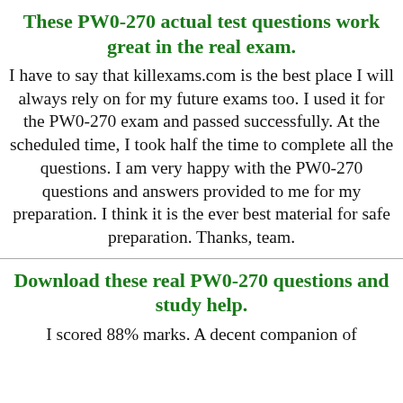These PW0-270 actual test questions work great in the real exam.
I have to say that killexams.com is the best place I will always rely on for my future exams too. I used it for the PW0-270 exam and passed successfully. At the scheduled time, I took half the time to complete all the questions. I am very happy with the PW0-270 questions and answers provided to me for my preparation. I think it is the ever best material for safe preparation. Thanks, team.
Download these real PW0-270 questions and study help.
I scored 88% marks. A decent companion of